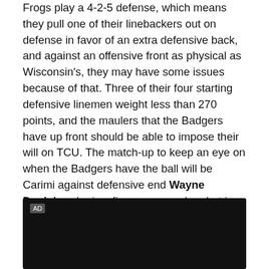Frogs play a 4-2-5 defense, which means they pull one of their linebackers out on defense in favor of an extra defensive back, and against an offensive front as physical as Wisconsin's, they may have some issues because of that. Three of their four starting defensive linemen weight less than 270 points, and the maulers that the Badgers have up front should be able to impose their will on TCU. The match-up to keep an eye on when the Badgers have the ball will be Carimi against defensive end Wayne Daniels, who is a fierce pass rusher, but is probably going to see a lot of running plays in his direction tonight as he works against the Outland Trophy winner.
[Figure (other): Black advertisement video player box with AD label in top-left corner]